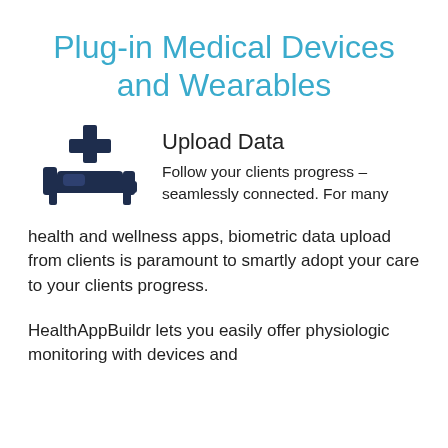Plug-in Medical Devices and Wearables
[Figure (illustration): Dark blue medical bed/hospital bed icon with a cross/plus symbol above it, representing medical device connectivity]
Upload Data
Follow your clients progress – seamlessly connected. For many health and wellness apps, biometric data upload from clients is paramount to smartly adopt your care to your clients progress.
HealthAppBuildr lets you easily offer physiologic monitoring with devices and